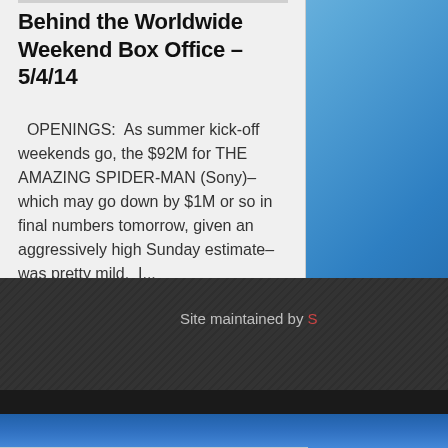Behind the Worldwide Weekend Box Office – 5/4/14
OPENINGS:  As summer kick-off weekends go, the $92M for THE AMAZING SPIDER-MAN (Sony)–which may go down by $1M or so in final numbers tomorrow, given an aggressively high Sunday estimate–was pretty mild.  I...
BY MITCH SALEM    FULL STORY »
Site maintained by S